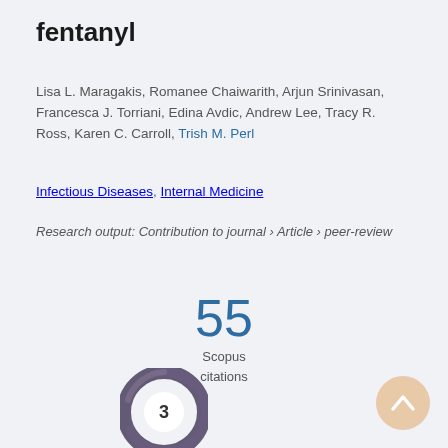fentanyl
Lisa L. Maragakis, Romanee Chaiwarith, Arjun Srinivasan, Francesca J. Torriani, Edina Avdic, Andrew Lee, Tracy R. Ross, Karen C. Carroll, Trish M. Perl
Infectious Diseases, Internal Medicine
Research output: Contribution to journal › Article › peer-review
55 Scopus citations
[Figure (other): Altmetric donut badge showing score of 3, rendered as a circular swirled graphic in dark purple/grey tones with the number 3 in the center white circle]
[Figure (other): Scroll-to-top button: circular peach/tan colored button with an upward chevron arrow icon]